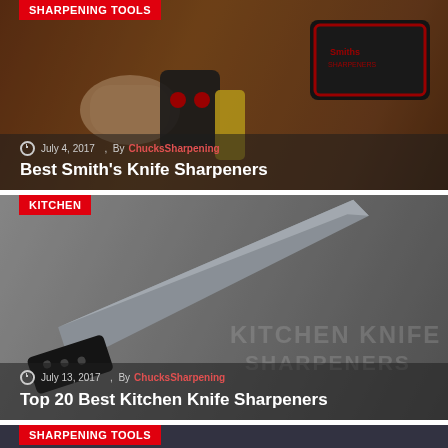SHARPENING TOOLS
[Figure (photo): Hands using a Smith's knife sharpener on a wooden table, with a black Smith's branded case in the background]
July 4, 2017  ,  By ChucksSharpening
Best Smith's Knife Sharpeners
KITCHEN
[Figure (photo): Kitchen knife with black handle on grey background, with watermark text KITCHEN KNIFE SHARPENERS]
July 13, 2017  ,  By ChucksSharpening
Top 20 Best Kitchen Knife Sharpeners
SHARPENING TOOLS
[Figure (photo): Colored pencils being sharpened, partially visible at bottom of page]